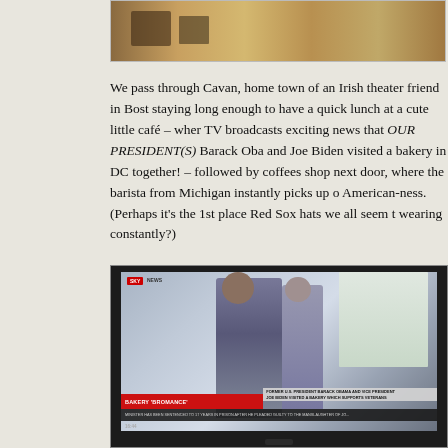[Figure (photo): Partial photo at top showing hands on a table surface, cropped]
We pass through Cavan, home town of an Irish theater friend in Bost staying long enough to have a quick lunch at a cute little café – wher TV broadcasts exciting news that OUR PRESIDENT(S) Barack Oba and Joe Biden visited a bakery in DC together! – followed by coffees shop next door, where the barista from Michigan instantly picks up o American-ness. (Perhaps it's the 1st place Red Sox hats we all seem t wearing constantly?)
[Figure (photo): TV screen showing a news broadcast with Sky News coverage. The chyron reads 'BAKERY BROMANCE' in red, with a caption 'FORMER U.S. PRESIDENT BARACK OBAMA AND VICE PRESIDENT JOE BIDEN VISITED A BAKERY WHICH SUPPORTS VETERANS'. Two figures visible on screen.]